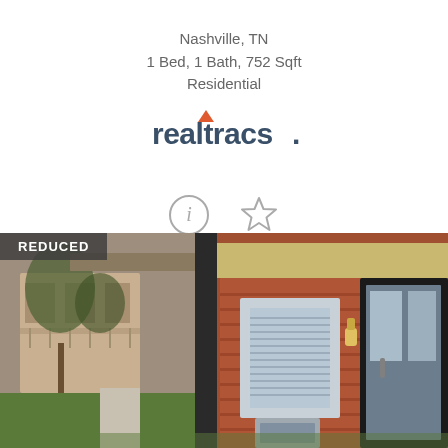Nashville, TN
1 Bed, 1 Bath, 752 Sqft
Residential
[Figure (logo): Realtracs logo with orange arrow and bold dark blue text 'realtracs.']
[Figure (infographic): Info circle icon and star/bookmark icon]
[Figure (photo): Exterior photo of a brick apartment building with covered walkway, windows, glass door, and lawn area. 'REDUCED' badge in top-left corner.]